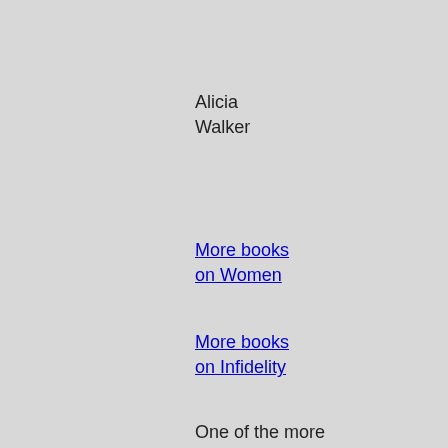Alicia Walker
More books on Women
More books on Infidelity
One of the more interesting facts in Esther Perel's new book, State of Affairs: Rethinking Infidelity, comes near the beginning. Since 1990, notes the